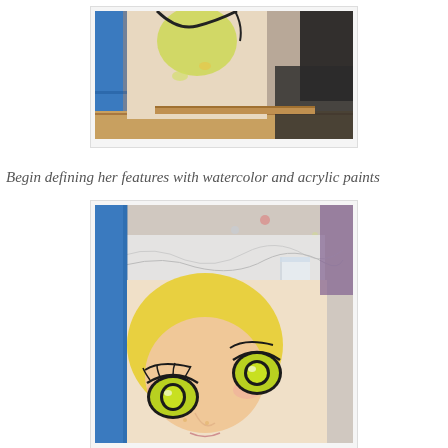[Figure (photo): Top portion of an art journal page showing a figure painting in progress with blue painter's tape on the side, partial view of a face with green/yellow elements, on a wooden surface.]
Begin defining her features with watercolor and acrylic paints
[Figure (photo): Close-up of an art journal painting showing a whimsical cat or girl face with large yellow-green eyes, yellow hair, pink cheeks, blue painter's tape on the left side, partially peeled transparent tape on the canvas, on a messy art workspace background.]